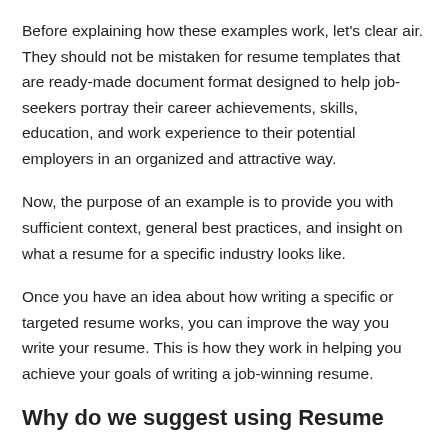Before explaining how these examples work, let's clear air. They should not be mistaken for resume templates that are ready-made document format designed to help job-seekers portray their career achievements, skills, education, and work experience to their potential employers in an organized and attractive way.
Now, the purpose of an example is to provide you with sufficient context, general best practices, and insight on what a resume for a specific industry looks like.
Once you have an idea about how writing a specific or targeted resume works, you can improve the way you write your resume. This is how they work in helping you achieve your goals of writing a job-winning resume.
Why do we suggest using Resume